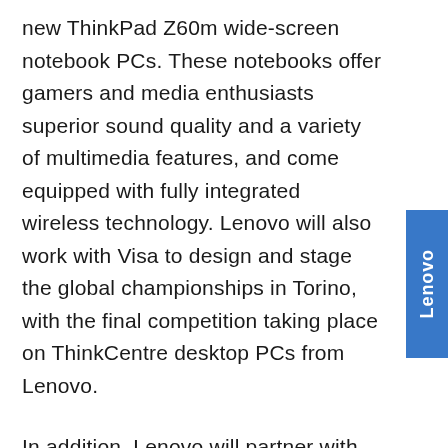new ThinkPad Z60m wide-screen notebook PCs. These notebooks offer gamers and media enthusiasts superior sound quality and a variety of multimedia features, and come equipped with fully integrated wireless technology. Lenovo will also work with Visa to design and stage the global championships in Torino, with the final competition taking place on ThinkCentre desktop PCs from Lenovo.
In addition, Lenovo will partner with Visa to provide Lenovo employees and guests with a Lenovo-branded, prepaid card in